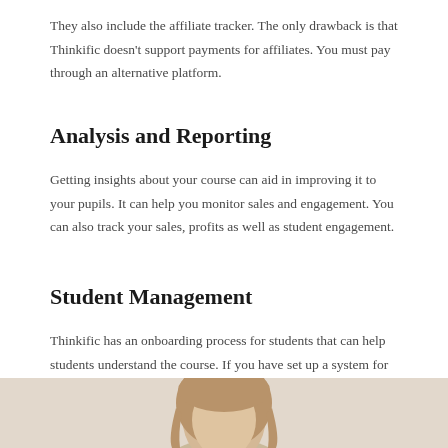They also include the affiliate tracker. The only drawback is that Thinkific doesn't support payments for affiliates. You must pay through an alternative platform.
Analysis and Reporting
Getting insights about your course can aid in improving it to your pupils. It can help you monitor sales and engagement. You can also track your sales, profits as well as student engagement.
Student Management
Thinkific has an onboarding process for students that can help students understand the course. If you have set up a system for them, they will get email notifications, emails as well as access to community.
[Figure (photo): Photo of a woman with long hair, cropped at top of frame, partial view]